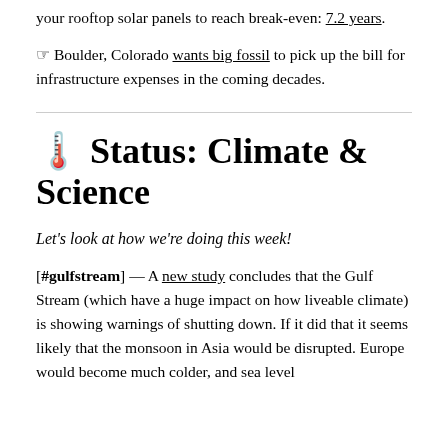your rooftop solar panels to reach break-even: 7.2 years.
☞ Boulder, Colorado wants big fossil to pick up the bill for infrastructure expenses in the coming decades.
🌡️ Status: Climate & Science
Let's look at how we're doing this week!
[#gulfstream] — A new study concludes that the Gulf Stream (which have a huge impact on how liveable climate) is showing warnings of shutting down. If it did that it seems likely that the monsoon in Asia would be disrupted. Europe would become much colder, and sea level